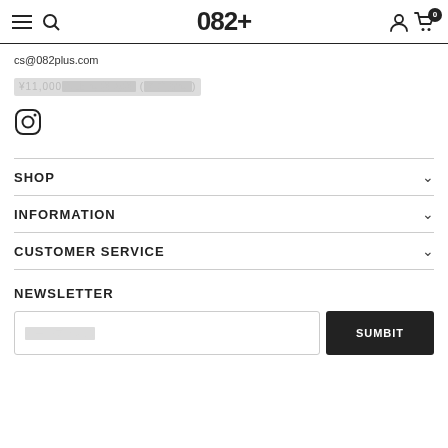082+
cs@082plus.com
¥11,000以上 送料無料 (国内配送)
[Figure (logo): Instagram icon]
SHOP
INFORMATION
CUSTOMER SERVICE
NEWSLETTER
メールアドレス (SUMBIT button)